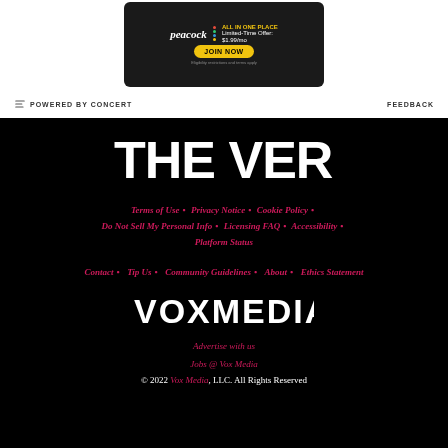[Figure (screenshot): Peacock streaming service advertisement: ALL IN ONE PLACE, Limited-Time Offer: $1.99/mo, JOIN NOW button]
POWERED BY CONCERT   FEEDBACK
[Figure (logo): THE VERGE logo in white bold text on black background]
Terms of Use • Privacy Notice • Cookie Policy • Do Not Sell My Personal Info • Licensing FAQ • Accessibility • Platform Status
Contact • Tip Us • Community Guidelines • About • Ethics Statement
[Figure (logo): VOX MEDIA logo in white text on black background]
Advertise with us
Jobs @ Vox Media
© 2022 Vox Media, LLC. All Rights Reserved